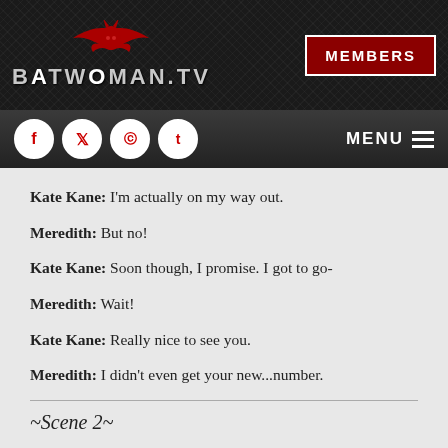[Figure (logo): Batwoman.tv website header with red bat logo, silver text 'BATWOMAN.TV', dark carbon fiber background, and red MEMBERS button]
[Figure (screenshot): Navigation bar with social media icons (Facebook, Twitter, Instagram, Tumblr) and MENU hamburger button]
Kate Kane: I'm actually on my way out.
Meredith: But no!
Kate Kane: Soon though, I promise. I got to go-
Meredith: Wait!
Kate Kane: Really nice to see you.
Meredith: I didn't even get your new...number.
~Scene 2~